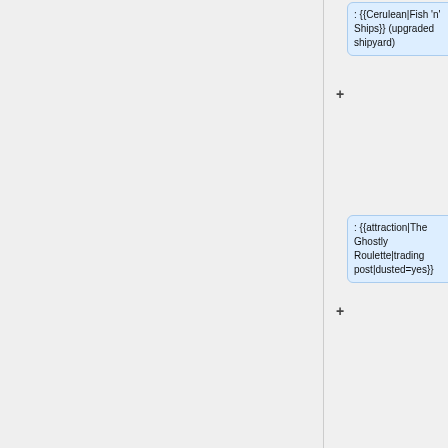: {{Cerulean|Fish 'n' Ships}} (upgraded shipyard)
: {{attraction|The Ghostly Roulette|trading post|dusted=yes}}
: [[Hidden Ghostship]] (upgraded shipyard)
: {{attraction|Jungle Conquerors|explorers' hall|dusted=yes}}
: {{Cerulean|Jungle Juice}} (upgraded distillery)